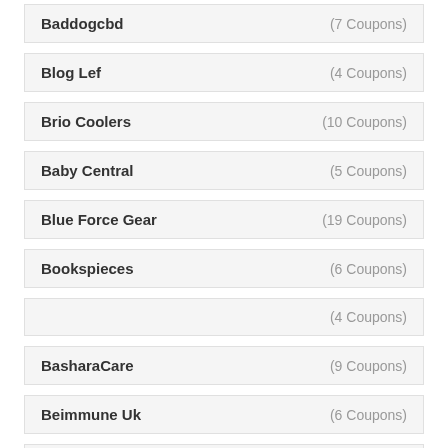Baddogcbd (7 Coupons)
Blog Lef (4 Coupons)
Brio Coolers (10 Coupons)
Baby Central (5 Coupons)
Blue Force Gear (19 Coupons)
Bookspieces (6 Coupons)
(4 Coupons)
BasharaCare (9 Coupons)
Beimmune Uk (6 Coupons)
Blackview (4 Coupons)